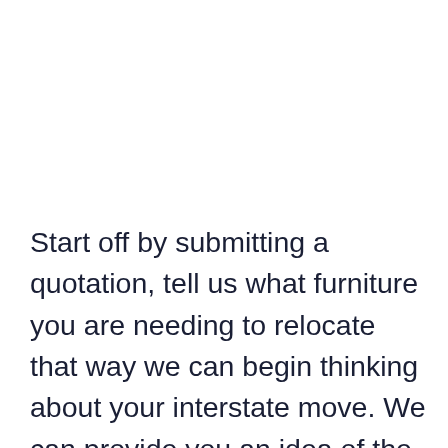Start off by submitting a quotation, tell us what furniture you are needing to relocate that way we can begin thinking about your interstate move. We can provide you an idea of the expenses that you are looking at for your move so you are able to start budgeting for your interstate move. Do not worry if your furniture list isn't completely perfect